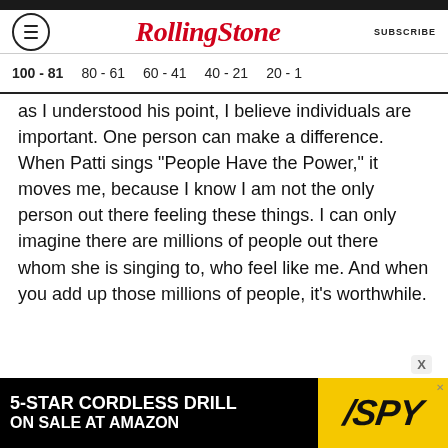RollingStone — SUBSCRIBE
100 - 81  80 - 61  60 - 41  40 - 21  20 - 1
as I understood his point, I believe individuals are important. One person can make a difference. When Patti sings "People Have the Power," it moves me, because I know I am not the only person out there feeling these things. I can only imagine there are millions of people out there whom she is singing to, who feel like me. And when you add up those millions of people, it's worthwhile.
[Figure (other): Advertisement banner: 5-STAR CORDLESS DRILL ON SALE AT AMAZON, SPY logo on yellow background]